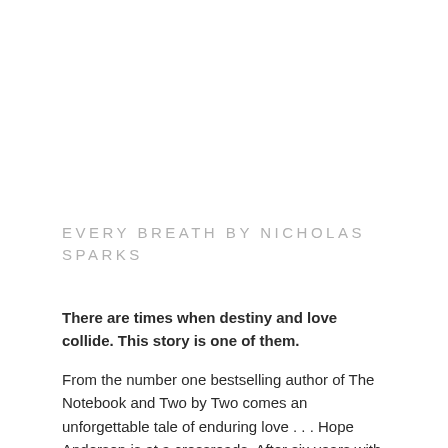EVERY BREATH BY NICHOLAS SPARKS
There are times when destiny and love collide. This story is one of them.
From the number one bestselling author of The Notebook and Two by Two comes an unforgettable tale of enduring love . . . Hope Anderson is at a crossroads. After six years with her boyfriend, she is